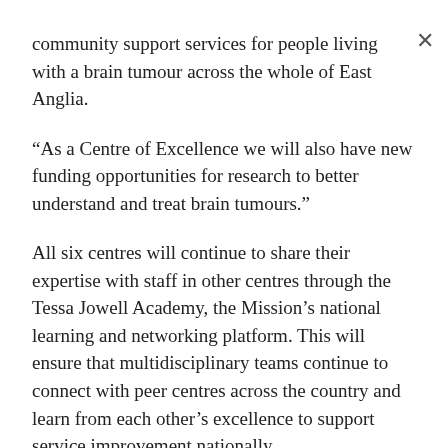community support services for people living with a brain tumour across the whole of East Anglia.
“As a Centre of Excellence we will also have new funding opportunities for research to better understand and treat brain tumours.”
All six centres will continue to share their expertise with staff in other centres through the Tessa Jowell Academy, the Mission’s national learning and networking platform. This will ensure that multidisciplinary teams continue to connect with peer centres across the country and learn from each other’s excellence to support service improvement nationally.
Jess Mills, Tessa Jowell’s daughter and TJBCM’s Special Adviser said: “We are one step closer to achieving this incredible ambition of excellence for all. The reason we are